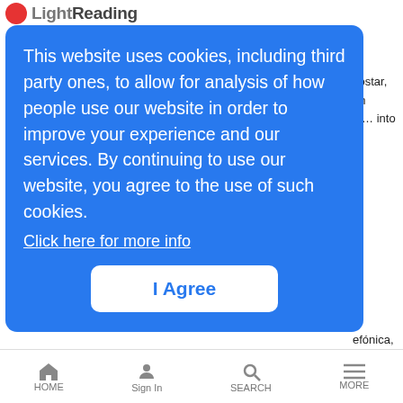LightReading
[Figure (screenshot): Cookie consent modal overlay on LightReading website with blue background. Contains cookie notice text, 'Click here for more info' link, and 'I Agree' button.]
This website uses cookies, including third party ones, to allow for analysis of how people use our website in order to improve your experience and our services. By continuing to use our website, you agree to the use of such cookies.
Click here for more info
I Agree
ultimately limit other vendors' access to the market, thereby reducing the level of true openness," writes Kompany in a research note. Meanwhile, operators choosing the RCP route "may be limited to the vendors and features on Rakuten's roadmap," he says.
Want to know more about 5G? Check out our dedicated
HOME | Sign In | SEARCH | MORE